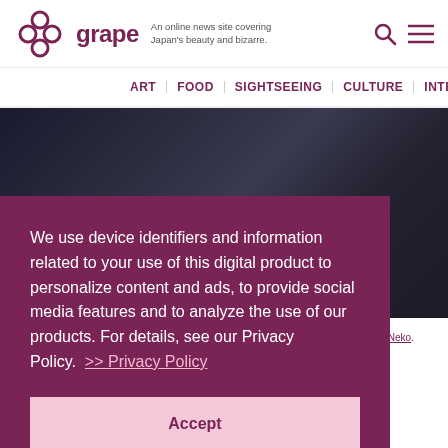grape — An online news site covering Japan's beauty and bizarre.
ART | FOOD | SIGHTSEEING | CULTURE | INTERVIEW
[Figure (photo): Dark clothing/fabric close-up shot, person lying or sitting on a textured grey surface]
We use device identifiers and information related to your use of this digital product to personalize content and ads, to provide social media features and to analyze the use of our products. For details, see our Privacy Policy.  >> Privacy Policy
Accept
By — ig Neko.